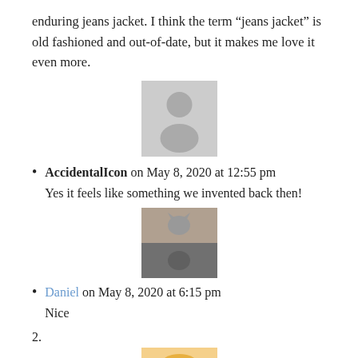enduring jeans jacket. I think the term “jeans jacket” is old fashioned and out-of-date, but it makes me love it even more.
[Figure (photo): Gray placeholder avatar image with silhouette of a person]
AccidentalIcon on May 8, 2020 at 12:55 pm
Yes it feels like something we invented back then!
[Figure (photo): Photo of a cat reflected in a surface, with decorative items nearby]
Daniel on May 8, 2020 at 6:15 pm
Nice
2.
[Figure (photo): Partially visible photo of a blonde woman at the bottom of the page]